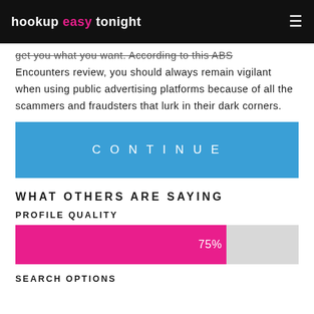hookup easy tonight
get you what you want. According to this ABS Encounters review, you should always remain vigilant when using public advertising platforms because of all the scammers and fraudsters that lurk in their dark corners.
CONTINUE
WHAT OTHERS ARE SAYING
PROFILE QUALITY
[Figure (bar-chart): Profile Quality]
SEARCH OPTIONS